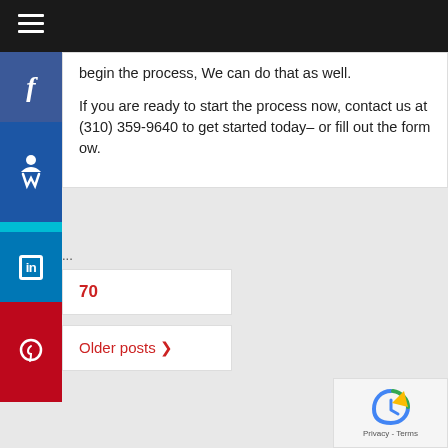Navigation bar with hamburger menu
begin the process, We can do that as well.
If you are ready to start the process now, contact us at (310) 359-9640 to get started today– or fill out the form ow.
...
70
Older posts >